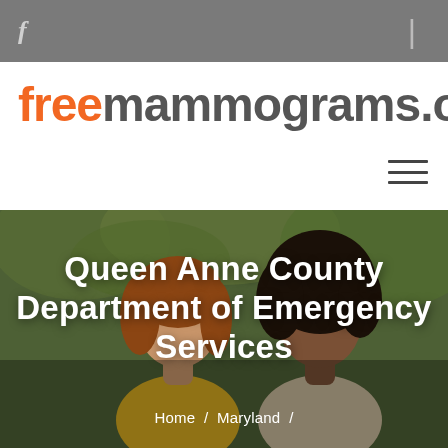f | [user icon]
freemammograms.org
[Figure (photo): Two women smiling together outdoors with green foliage in background — one with light brown hair wearing yellow, one with natural dark hair wearing beige]
Queen Anne County Department of Emergency Services
Home / Maryland /